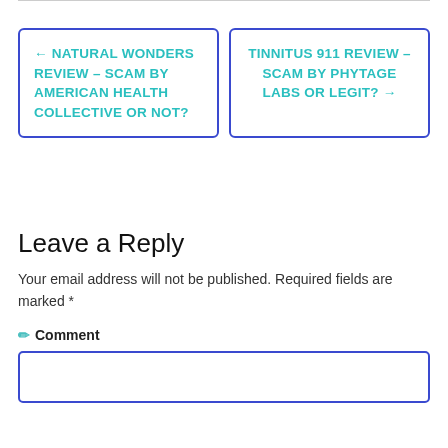← NATURAL WONDERS REVIEW – SCAM BY AMERICAN HEALTH COLLECTIVE OR NOT?
TINNITUS 911 REVIEW – SCAM BY PHYTAGE LABS OR LEGIT? →
Leave a Reply
Your email address will not be published. Required fields are marked *
Comment